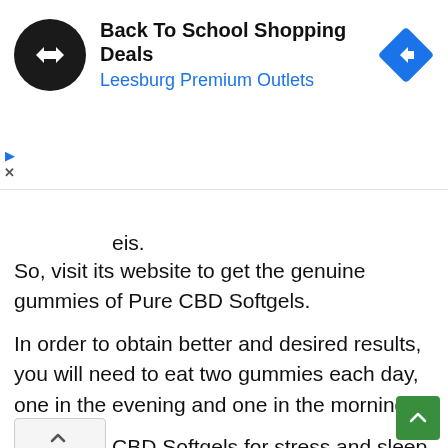[Figure (other): Advertisement banner for 'Back To School Shopping Deals' at Leesburg Premium Outlets, featuring a circular logo with arrows, a blue navigation diamond icon on the right, and play/close controls.]
eis.
So, visit its website to get the genuine gummies of Pure CBD Softgels.
In order to obtain better and desired results, you will need to eat two gummies each day, one in the evening and one in the morning.
Best Pure CBD Softgels for stress and sleep, What are the side effects of Pure CBD Softgels, Botanical Pure CBD Softgels shark tank, Botanical Pure CBD Softgels to quit smoking.
Pure CBD Softgels assure users that they can alleviate such mental conditions. pure cbd dr oz, wholesale cbd softgels, cbd softgel kapseln 20mg,